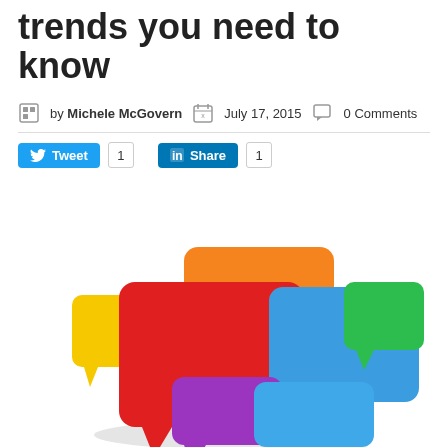trends you need to know
by Michele McGovern  July 17, 2015  0 Comments
Tweet 1  Share 1
[Figure (illustration): 3D colorful speech bubble icons clustered together — red, orange, blue, green, yellow, purple speech bubbles overlapping on a white background with subtle shadow beneath]